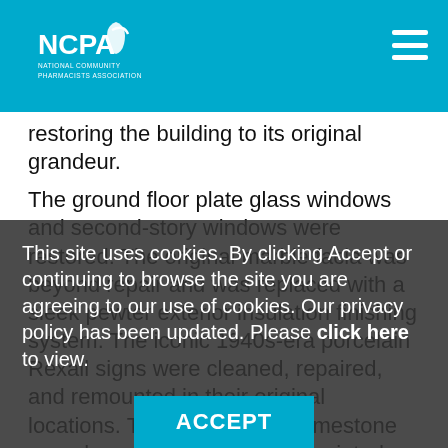NCPA — National Community Pharmacists Association
restoring the building to its original grandeur.
The ground floor plate glass windows and second-story windows were restored. The original marble facia was beyond repair and was replaced with a sleek pewter exterior insulation finishing system. The iconic 1940s-era porcelain Rexall signs were cleaned, repaired, and remounted in their original locations. The second-story limestone was cleaned, repaired and repointed. Rexall lettering was added to the second story to match the original concept. While the grand Rexall Drug Co. name could not be replaced by law on the exterior, a custom-fabricated replica was installed on the second story, around the center window.
This site uses cookies. By clicking Accept or continuing to browse the site you are agreeing to our use of cookies. Our privacy policy has been updated. Please click here to view.
ACCEPT